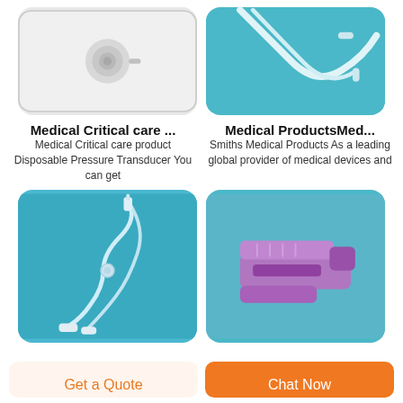[Figure (photo): Medical disposable pressure transducer on white/light gray background]
[Figure (photo): Medical tubing/catheter on blue background]
Medical Critical care ...
Medical Critical care product Disposable Pressure Transducer You can get
Medical ProductsMed...
Smiths Medical Products As a leading global provider of medical devices and
[Figure (photo): IV drip set / infusion set with tubing on blue background]
[Figure (photo): Purple medical clamp/clip device on blue background]
Get a Quote
Chat Now